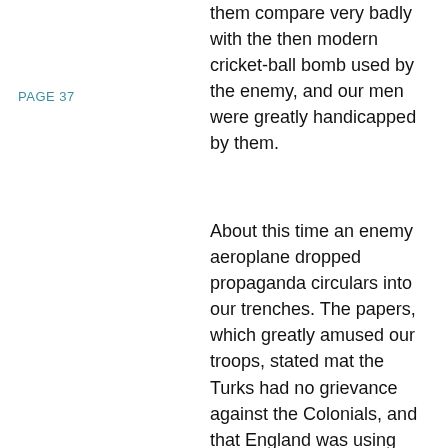PAGE 37
them compare very badly with the then modern cricket-ball bomb used by the enemy, and our men were greatly handicapped by them.
About this time an enemy aeroplane dropped propaganda circulars into our trenches. The papers, which greatly amused our troops, stated mat the Turks had no grievance against the Colonials, and that England was using them only for her own ends; also, that communication by sea would be cut off by German submarines, and that we would be compelled by hunger and thirst to surrender or be driven into the sea. They had plenty of provisions, and would treat us well. That was the soft side of the Turk, but two days later came a different